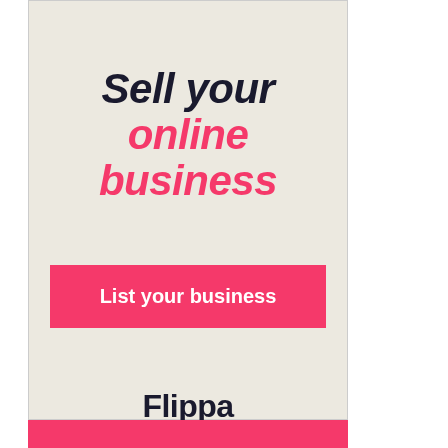Sell your online business
List your business
Flippa